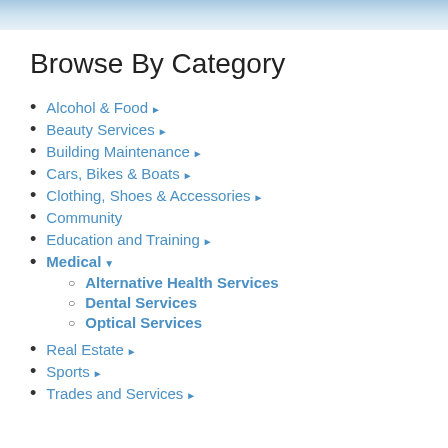Browse By Category
Alcohol & Food ▶
Beauty Services ▶
Building Maintenance ▶
Cars, Bikes & Boats ▶
Clothing, Shoes & Accessories ▶
Community
Education and Training ▶
Medical ▼
Alternative Health Services
Dental Services
Optical Services
Real Estate ▶
Sports ▶
Trades and Services ▶